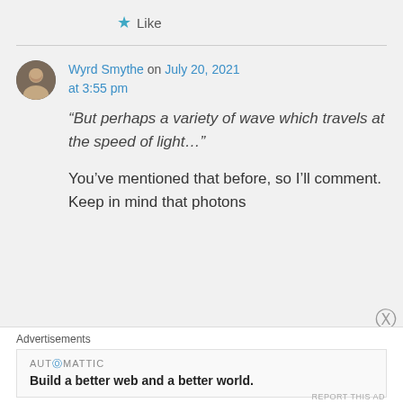★ Like
Wyrd Smythe on July 20, 2021 at 3:55 pm
“But perhaps a variety of wave which travels at the speed of light…”
You’ve mentioned that before, so I’ll comment. Keep in mind that photons
Advertisements
AUTⓄMATTIC
Build a better web and a better world.